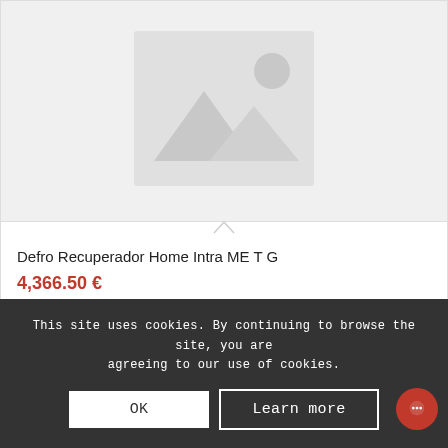[Figure (photo): Product placeholder image with mountain/landscape icon on grey background]
Defro Recuperador Home Intra ME T G
4,366.50 €
Adicionar
This site uses cookies. By continuing to browse the site, you are agreeing to our use of cookies.
OK
Learn more